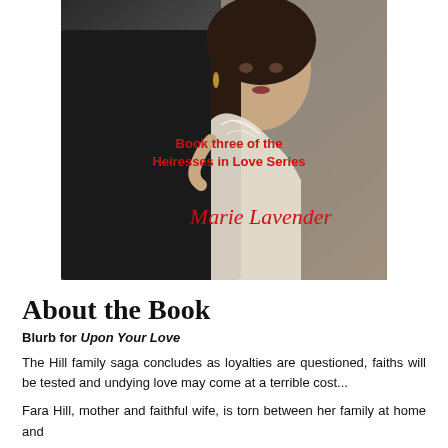[Figure (photo): Book cover for 'Upon Your Love' by Marie Lavender, Book Three of the Heiresses in Love Series. Shows a couple embracing — a woman in a white lace dress looking back over her shoulder, and a man in a dark suit. Red text overlay reads 'Book three of the Heiresses in Love Series' and cursive red text reads 'Marie Lavender'.]
About the Book
Blurb for Upon Your Love
The Hill family saga concludes as loyalties are questioned, faiths will be tested and undying love may come at a terrible cost...
Fara Hill, mother and faithful wife, is torn between her family at home and